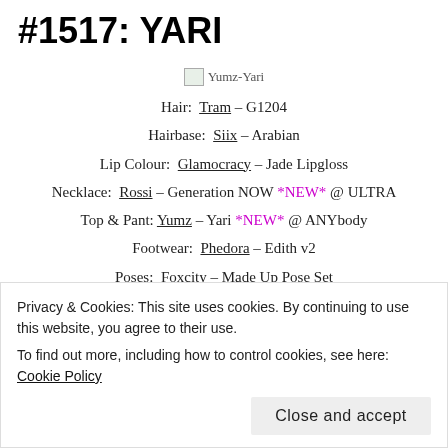#1517: YARI
[Figure (photo): Broken image placeholder labeled Yumz-Yari]
Hair:  Tram – G1204
Hairbase:  Siix – Arabian
Lip Colour:  Glamocracy – Jade Lipgloss
Necklace:  Rossi – Generation NOW *NEW* @ ULTRA
Top & Pant: Yumz – Yari *NEW* @ ANYbody
Footwear:  Phedora – Edith v2
Poses:  Foxcity – Made Up Pose Set
Photobooth:  Pink Hustler – Just Like Doll (#01) @ Backdrop City
Posted in Uncategorized and tagged ANYbody, Backdrop City
Privacy & Cookies: This site uses cookies. By continuing to use this website, you agree to their use.
To find out more, including how to control cookies, see here: Cookie Policy
Close and accept